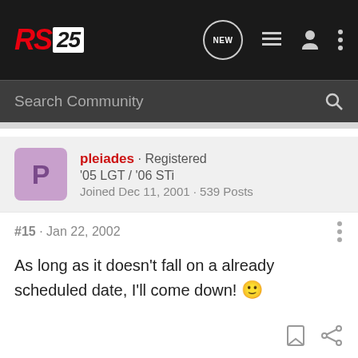RS25 — navigation bar with search
pleiades · Registered
'05 LGT / '06 STi
Joined Dec 11, 2001 · 539 Posts
#15 · Jan 22, 2002
As long as it doesn't fall on a already scheduled date, I'll come down! 🙂